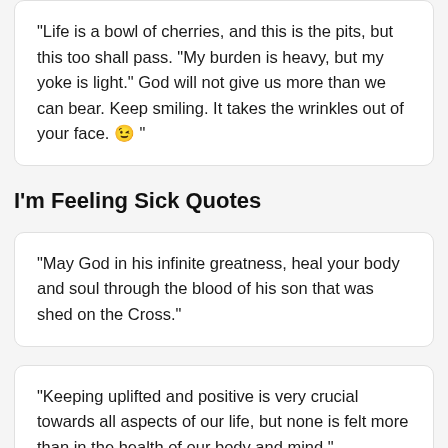“Life is a bowl of cherries, and this is the pits, but this too shall pass. “My burden is heavy, but my yoke is light.” God will not give us more than we can bear. Keep smiling. It takes the wrinkles out of your face. 😉 ”
I’m Feeling Sick Quotes
“May God in his infinite greatness, heal your body and soul through the blood of his son that was shed on the Cross.”
“Keeping uplifted and positive is very crucial towards all aspects of our life, but none is felt more than in the health of our body and mind.”